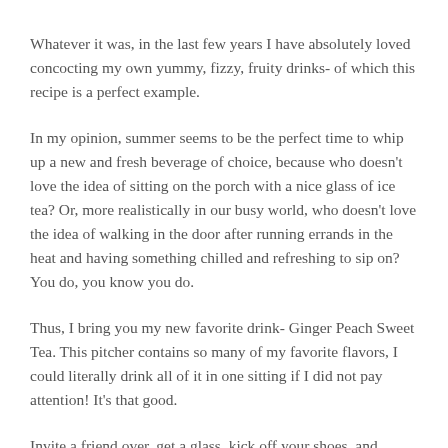Whatever it was, in the last few years I have absolutely loved concocting my own yummy, fizzy, fruity drinks- of which this recipe is a perfect example.
In my opinion, summer seems to be the perfect time to whip up a new and fresh beverage of choice, because who doesn't love the idea of sitting on the porch with a nice glass of ice tea? Or, more realistically in our busy world, who doesn't love the idea of walking in the door after running errands in the heat and having something chilled and refreshing to sip on? You do, you know you do.
Thus, I bring you my new favorite drink- Ginger Peach Sweet Tea. This pitcher contains so many of my favorite flavors, I could literally drink all of it in one sitting if I did not pay attention! It's that good.
Invite a friend over, get a glass, kick off your shoes, and